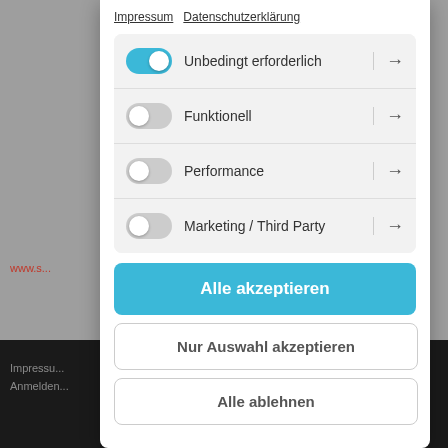[Figure (screenshot): Cookie consent modal dialog on a German website showing toggle switches for cookie categories and accept/decline buttons]
Impressum   Datenschutzerklärung
Unbedingt erforderlich
Funktionell
Performance
Marketing / Third Party
Alle akzeptieren
Nur Auswahl akzeptieren
Alle ablehnen